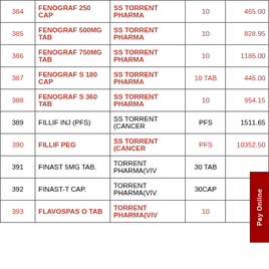|  | Product | Manufacturer | Pack | Price |
| --- | --- | --- | --- | --- |
| 384 | FENOGRAF 250 CAP | SS TORRENT PHARMA | 10 | 465.00 |
| 385 | FENOGRAF 500MG TAB | SS TORRENT PHARMA | 10 | 828.95 |
| 386 | FENOGRAF 750MG TAB | SS TORRENT PHARMA | 10 | 1185.00 |
| 387 | FENOGRAF S 180 CAP | SS TORRENT PHARMA | 10 TAB | 445.00 |
| 388 | FENOGRAF S 360 TAB | SS TORRENT PHARMA | 10 | 954.15 |
| 389 | FILLIF INJ (PFS) | SS TORRENT (CANCER | PFS | 1511.65 |
| 390 | FILLIF PEG | SS TORRENT (CANCER | PFS | 10352.50 |
| 391 | FINAST 5MG TAB. | TORRENT PHARMA(VIV | 30 TAB |  |
| 392 | FINAST-T CAP. | TORRENT PHARMA(VIV | 30CAP |  |
| 393 | FLAVOSPAS O TAB | TORRENT PHARMA(VIV | 10 |  |